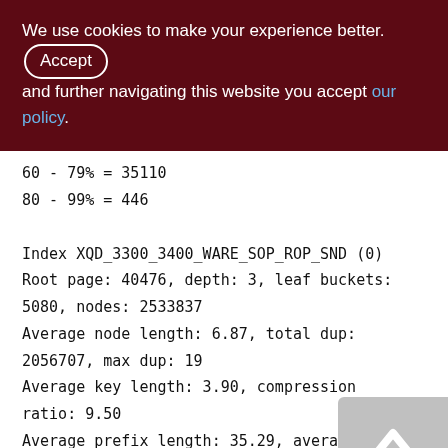We use cookies to make your experience better. By accepting and further navigating this website you accept our policy.
60 - 79% = 35110
80 - 99% = 446

Index XQD_3300_3400_WARE_SOP_ROP_SND (0)
Root page: 40476, depth: 3, leaf buckets: 5080, nodes: 2533837
Average node length: 6.87, total dup: 2056707, max dup: 19
Average key length: 3.90, compression ratio: 9.50
Average prefix length: 35.29, average data length: 1.71